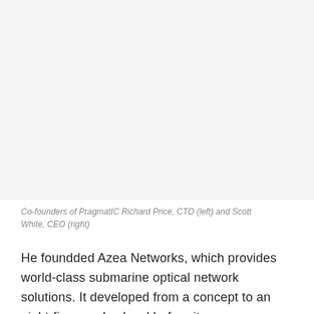[Figure (photo): Photo of co-founders of PragmatIC Richard Price and Scott White (image area, appears blank/white in this rendering)]
Co-founders of PragmatIC Richard Price, CTO (left) and Scott White, CEO (right)
He foundded Azea Networks, which provides world-class submarine optical network solutions. It developed from a concept to an eight-figure sales level before it was